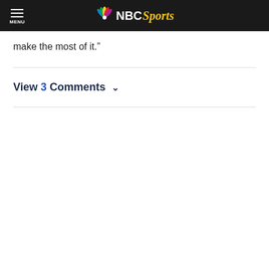NBC Sports
make the most of it."
View 3 Comments